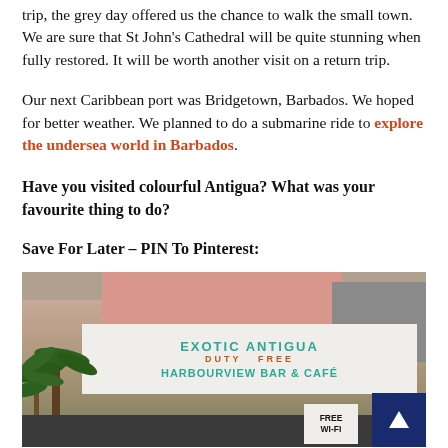trip, the grey day offered us the chance to walk the small town. We are sure that St John's Cathedral will be quite stunning when fully restored. It will be worth another visit on a return trip.
Our next Caribbean port was Bridgetown, Barbados. We hoped for better weather. We planned to do a submarine ride to explore the undersea world in Barbados.
Have you visited colourful Antigua? What was your favourite thing to do?
Save For Later – PIN To Pinterest:
[Figure (photo): Photo of a storefront in Antigua showing a sign reading 'EXOTIC ANTIGUA DUTY FREE HARBOURVIEW BAR & CAFÉ' with palm trees on the left and a FREE WI-FI sign at bottom right. A back-to-top navigation button (dark blue with white arrow) is overlaid on the bottom right.]